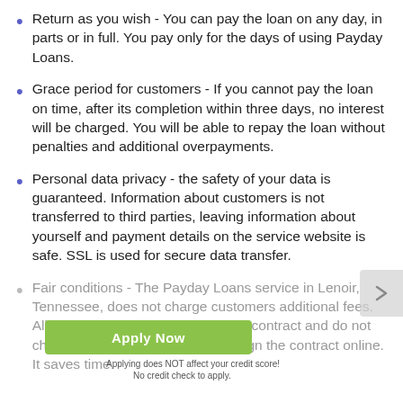Return as you wish - You can pay the loan on any day, in parts or in full. You pay only for the days of using Payday Loans.
Grace period for customers - If you cannot pay the loan on time, after its completion within three days, no interest will be charged. You will be able to repay the loan without penalties and additional overpayments.
Personal data privacy - the safety of your data is guaranteed. Information about customers is not transferred to third parties, leaving information about yourself and payment details on the service website is safe. SSL is used for secure data transfer.
Fair conditions - The Payday Loans service in Lenoir, Tennessee, does not charge customers additional fees. All conditions are spelled out in the contract and do not change after its signing. You can sign the contract online. It saves time.